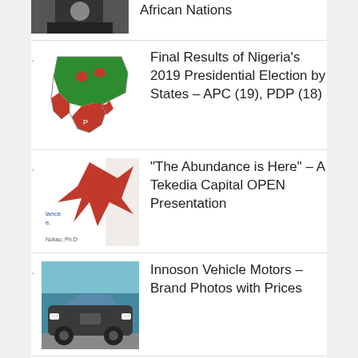[Figure (photo): Partial thumbnail of a person at top of page]
African Nations
[Figure (map): Map of Nigeria showing APC (green) and PDP (red) states in 2019 presidential election]
Final Results of Nigeria’s 2019 Presidential Election by States – APC (19), PDP (18)
[Figure (photo): Tekedia Capital presentation slide with red graphic and text 'lance', 'e.', 'Nokao, Ph.D']
“The Abundance is Here” – A Tekedia Capital OPEN Presentation
[Figure (photo): Innoson vehicle (SUV) in front of a blue building]
Innoson Vehicle Motors – Brand Photos with Prices
GET UPDATES